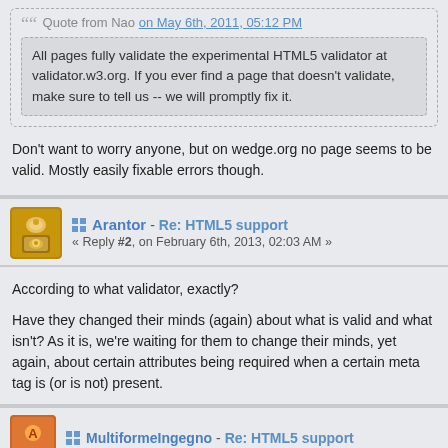Quote from Nao on May 6th, 2011, 05:12 PM
All pages fully validate the experimental HTML5 validator at validator.w3.org. If you ever find a page that doesn't validate, make sure to tell us -- we will promptly fix it.
Don't want to worry anyone, but on wedge.org no page seems to be valid. Mostly easily fixable errors though.
Arantor - Re: HTML5 support
« Reply #2, on February 6th, 2013, 02:03 AM »
According to what validator, exactly?

Have they changed their minds (again) about what is valid and what isn't? As it is, we're waiting for them to change their minds, yet again, about certain attributes being required when a certain meta tag is (or is not) present.
MultiformeIngegno - Re: HTML5 support